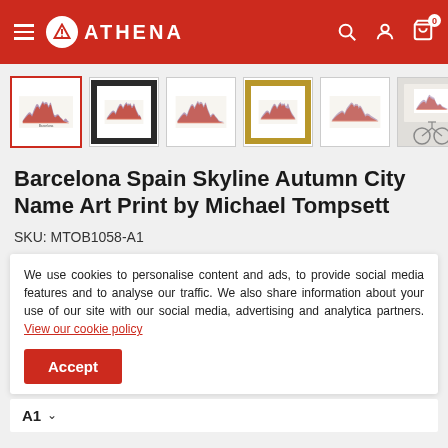ATHENA
[Figure (screenshot): Product thumbnail gallery showing Barcelona Spain Skyline art print in various frames: unframed, dark frame, light frame, gold frame, frameless, and lifestyle photo]
Barcelona Spain Skyline Autumn City Name Art Print by Michael Tompsett
SKU: MTOB1058-A1
We use cookies to personalise content and ads, to provide social media features and to analyse our traffic. We also share information about your use of our site with our social media, advertising and analytica partners. View our cookie policy
A1